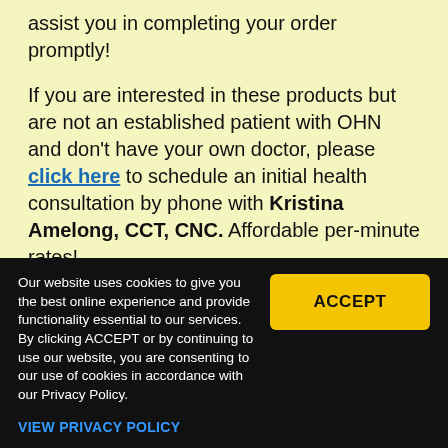assist you in completing your order promptly!

If you are interested in these products but are not an established patient with OHN and don't have your own doctor, please click here to schedule an initial health consultation by phone with Kristina Amelong, CCT, CNC. Affordable per-minute rates!
Our website uses cookies to give you the best online experience and provide functionality essential to our services. By clicking ACCEPT or by continuing to use our website, you are consenting to our use of cookies in accordance with our Privacy Policy.
VIEW PRIVACY POLICY